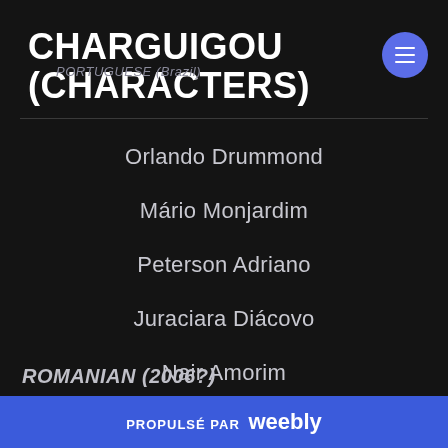CHARGUIGOU (CHARACTERS)
PORTUGUESE (Brazil)
Orlando Drummond
Mário Monjardim
Peterson Adriano
Juraciara Diácovo
Nair Amorim
ROMANIAN (2006?)
PROPULSÉ PAR weebly